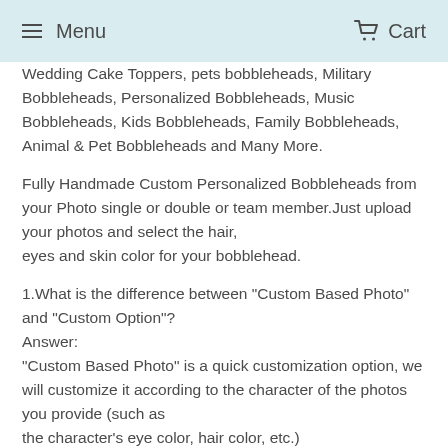Menu   Cart
Wedding Cake Toppers, pets bobbleheads, Military Bobbleheads, Personalized Bobbleheads, Music Bobbleheads, Kids Bobbleheads, Family Bobbleheads, Animal & Pet Bobbleheads and Many More.
Fully Handmade Custom Personalized Bobbleheads from your Photo single or double or team member.Just upload your photos and select the hair, eyes and skin color for your bobblehead.
1.What is the difference between "Custom Based Photo" and "Custom Option"?
Answer:
"Custom Based Photo" is a quick customization option, we will customize it according to the character of the photos you provide (such as the character's eye color, hair color, etc.)